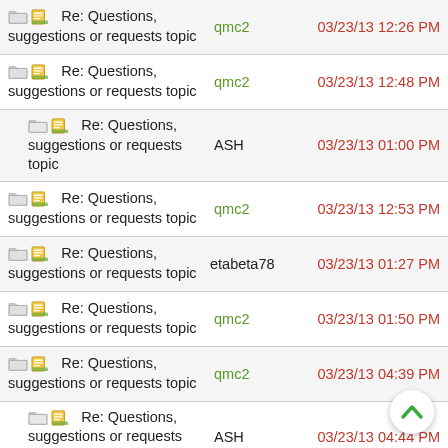Re: Questions, suggestions or requests topic | qmc2 | 03/23/13 12:26 PM
Re: Questions, suggestions or requests topic | qmc2 | 03/23/13 12:48 PM
Re: Questions, suggestions or requests topic | ASH | 03/23/13 01:00 PM
Re: Questions, suggestions or requests topic | qmc2 | 03/23/13 12:53 PM
Re: Questions, suggestions or requests topic | etabeta78 | 03/23/13 01:27 PM
Re: Questions, suggestions or requests topic | qmc2 | 03/23/13 01:50 PM
Re: Questions, suggestions or requests topic | qmc2 | 03/23/13 04:39 PM
Re: Questions, suggestions or requests topic | ASH | 03/23/13 04:44 PM
Re: Questions, suggestions or requests topic | qmc2 | 03/23/13 05:09 PM
Re: Questions, | qmc2 | 03/23/13 05:28 PM